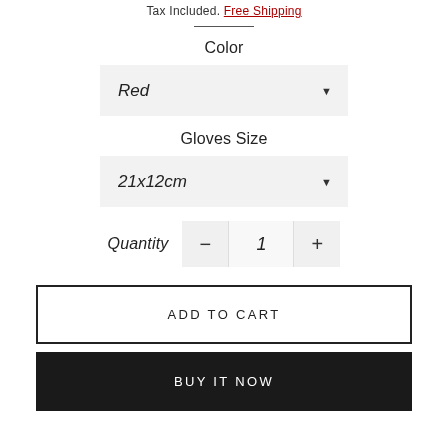Tax Included. Free Shipping
Color
Red
Gloves Size
21x12cm
Quantity  −  1  +
ADD TO CART
BUY IT NOW